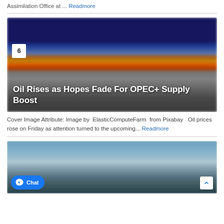Assimilation Office at ... Readmore
[Figure (photo): Blurred photo of a gas station at night with orange and yellow illuminated roof against dark blue sky, with the number badge 6 and overlay title 'Oil Rises as Hopes Fade For OPEC+ Supply Boost']
Cover Image Attribute: Image by ElasticComputeFarm from Pixabay Oil prices rose on Friday as attention turned to the upcoming... Readmore
[Figure (photo): Blurred photo of an offshore oil platform against a blue sky, partially cropped at bottom of page, with Chat button overlay and back-to-top button]